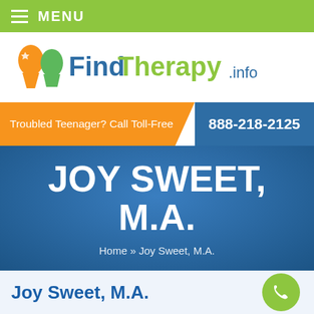≡ MENU
[Figure (logo): FindTherapy.info logo with orange and green head silhouettes icon]
Troubled Teenager? Call Toll-Free 888-218-2125
JOY SWEET, M.A.
Home » Joy Sweet, M.A.
Joy Sweet, M.A.